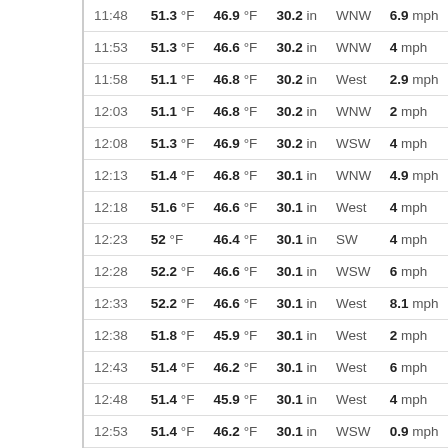| Time | Temperature | Dew Point | Pressure | Wind Dir | Wind Speed |
| --- | --- | --- | --- | --- | --- |
| 11:48 | 51.3 °F | 46.9 °F | 30.2 in | WNW | 6.9 mph |
| 11:53 | 51.3 °F | 46.6 °F | 30.2 in | WNW | 4 mph |
| 11:58 | 51.1 °F | 46.8 °F | 30.2 in | West | 2.9 mph |
| 12:03 | 51.1 °F | 46.8 °F | 30.2 in | WNW | 2 mph |
| 12:08 | 51.3 °F | 46.9 °F | 30.2 in | WSW | 4 mph |
| 12:13 | 51.4 °F | 46.8 °F | 30.1 in | WNW | 4.9 mph |
| 12:18 | 51.6 °F | 46.6 °F | 30.1 in | West | 4 mph |
| 12:23 | 52 °F | 46.4 °F | 30.1 in | SW | 4 mph |
| 12:28 | 52.2 °F | 46.6 °F | 30.1 in | WSW | 6 mph |
| 12:33 | 52.2 °F | 46.6 °F | 30.1 in | West | 8.1 mph |
| 12:38 | 51.8 °F | 45.9 °F | 30.1 in | West | 2 mph |
| 12:43 | 51.4 °F | 46.2 °F | 30.1 in | West | 6 mph |
| 12:48 | 51.4 °F | 45.9 °F | 30.1 in | West | 4 mph |
| 12:53 | 51.4 °F | 46.2 °F | 30.1 in | WSW | 0.9 mph |